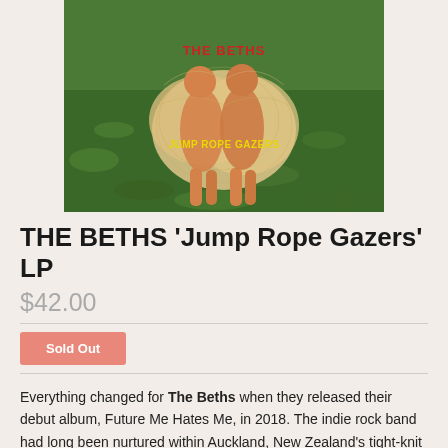[Figure (photo): Close-up photo of a transparent/clear plastic figurine of two human-like figures on a green grass background. The figurine has red text reading 'THE BETHS' at the top and yellow text reading 'JUMP ROPE GAZERS' in the middle.]
THE BETHS 'Jump Rope Gazers' LP
$42.00
Sold Out
Everything changed for The Beths when they released their debut album, Future Me Hates Me, in 2018. The indie rock band had long been nurtured within Auckland, New Zealand's tight-knit music scene, working full-time during the day and playing music with friends after hours. Full of uptempo pop rock songs with bright, indelible